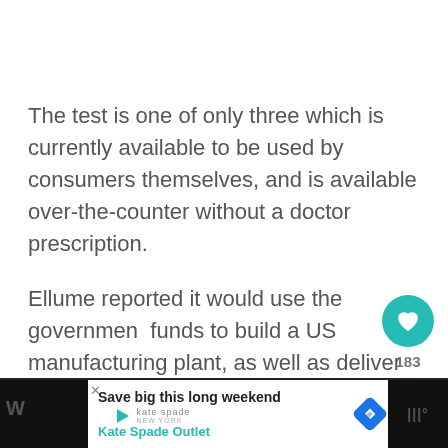The test is one of only three which is currently available to be used by consumers themselves, and is available over-the-counter without a doctor prescription.
Ellume reported it would use the government funds to build a US manufacturing plant, as well as deliver 8.5 million tests for federal use. A timeline for delivery was not spec[ified]
[Figure (screenshot): Mobile UI overlay showing a teal heart/like button with count 183 and a share button]
[Figure (screenshot): What's Next overlay card with avatar photo and text 'U.S. Now Requires All...']
[Figure (screenshot): Advertisement banner at bottom: Kate Spade Outlet - Save big this long weekend, with play icon, logo, and blue diamond navigation icon]